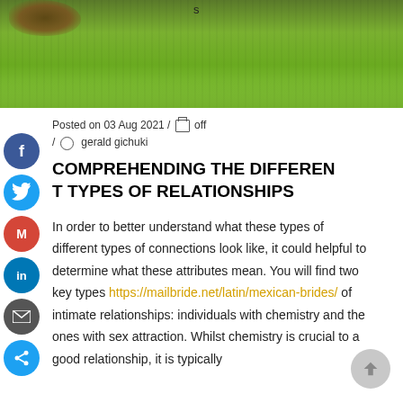[Figure (photo): Green grass lawn with a dark soil/dirt patch visible in the upper left corner. Page number 's' visible at top center.]
s
Posted on 03 Aug 2021 / ☐ off / ⓘ gerald gichuki
COMPREHENDING THE DIFFERENT TYPES OF RELATIONSHIPS
In order to better understand what these types of different types of connections look like, it could helpful to determine what these attributes mean. You will find two key types https://mailbride.net/latin/mexican-brides/ of intimate relationships: individuals with chemistry and the ones with sex attraction. Whilst chemistry is crucial to a good relationship, it is typically